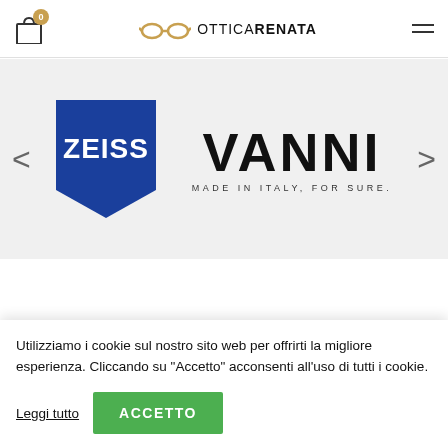Ottica Renata - header navigation with shopping bag and menu
[Figure (logo): Carousel showing Zeiss logo (blue pentagon background with white ZEISS text) and Vanni logo (bold black VANNI text, MADE IN ITALY, FOR SURE.) with left/right navigation arrows]
[Figure (logo): Ottica Renata large logo showing eyeglasses icon in gold and OTTICA RENATA text]
Utilizziamo i cookie sul nostro sito web per offrirti la migliore esperienza. Cliccando su "Accetto" acconsenti all'uso di tutti i cookie.
Leggi tutto
ACCETTO